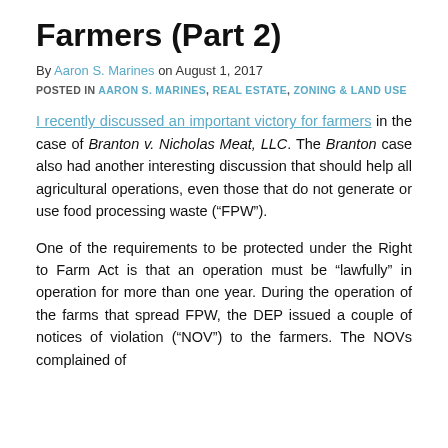Farmers (Part 2)
By Aaron S. Marines on August 1, 2017
POSTED IN AARON S. MARINES, REAL ESTATE, ZONING & LAND USE
I recently discussed an important victory for farmers in the case of Branton v. Nicholas Meat, LLC. The Branton case also had another interesting discussion that should help all agricultural operations, even those that do not generate or use food processing waste (“FPW”).
One of the requirements to be protected under the Right to Farm Act is that an operation must be “lawfully” in operation for more than one year. During the operation of the farms that spread FPW, the DEP issued a couple of notices of violation (“NOV”) to the farmers. The NOVs complained of